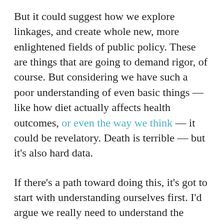But it could suggest how we explore linkages, and create whole new, more enlightened fields of public policy. These are things that are going to demand rigor, of course. But considering we have such a poor understanding of even basic things — like how diet actually affects health outcomes, or even the way we think — it could be revelatory. Death is terrible — but it's also hard data.
If there's a path toward doing this, it's got to start with understanding ourselves first. I'd argue we really need to understand the DeepOS of how we know on this blog, and look not just at our old, hidebound, and largely irrelevant models. The stereotypes of culture don't hold up in a modern globalized world. We can look at knowledge structures, and we can start the process of quantizing...